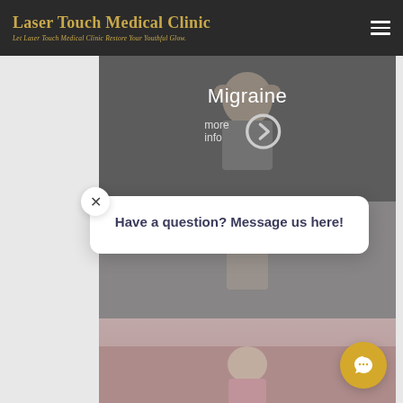Laser Touch Medical Clinic — Let Laser Touch Medical Clinic Restore Your Youthful Glow.
[Figure (photo): Person holding head in hands with migraine, dark overlay with text 'Migraine' and 'more info' link]
[Figure (photo): Person with arm raised, partial torso view]
[Figure (photo): Person in pink top, partial view]
Have a question? Message us here!